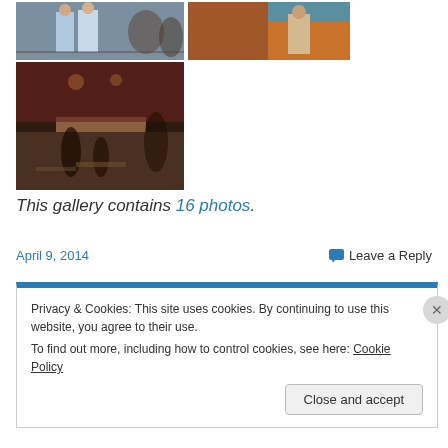[Figure (photo): Three-panel photo gallery: top-left shows two people standing in a restaurant, top-right shows a person standing in a colorful restaurant interior, bottom-left shows a wide interior shot of a busy cafe/restaurant]
This gallery contains 16 photos.
April 9, 2014
Leave a Reply
Privacy & Cookies: This site uses cookies. By continuing to use this website, you agree to their use.
To find out more, including how to control cookies, see here: Cookie Policy
Close and accept